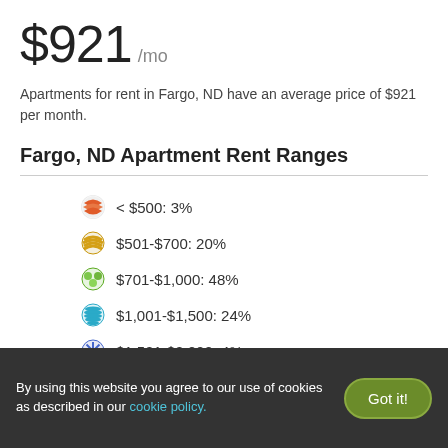$921 /mo
Apartments for rent in Fargo, ND have an average price of $921 per month.
Fargo, ND Apartment Rent Ranges
< $500: 3%
$501-$700: 20%
$701-$1,000: 48%
$1,001-$1,500: 24%
$1,501-$2,000: 4%
By using this website you agree to our use of cookies as described in our cookie policy.